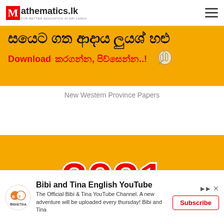Mathematics.lk
[Figure (illustration): Yellow banner advertisement in Sinhala script with bold black and red text: 'Download කරගන්න, පිව්සෙන්න..!' with a hand/cursor icon]
New Western Province Papers
[Figure (illustration): Yellow banner with large red bold '2021' text with white stroke]
[Figure (illustration): Advertisement for 'Bibi and Tina English YouTube' channel with logo, description and Subscribe button]